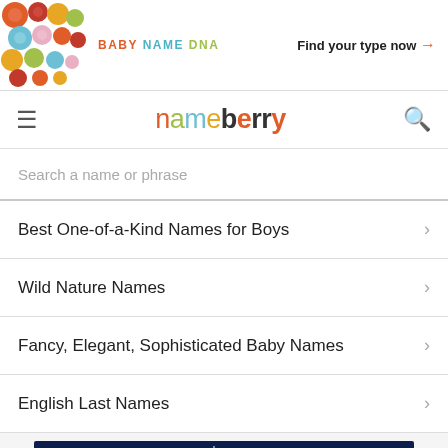[Figure (illustration): Banner ad with colorful circles pattern on left, 'BABY NAME DNA' text in center-left, and 'Find your type now →' on right]
nameberry
Search a name or phrase
Best One-of-a-Kind Names for Boys
Wild Nature Names
Fancy, Elegant, Sophisticated Baby Names
English Last Names
[Figure (screenshot): Nameberry website screenshot showing dark blue starry night background with white nameberry logo]